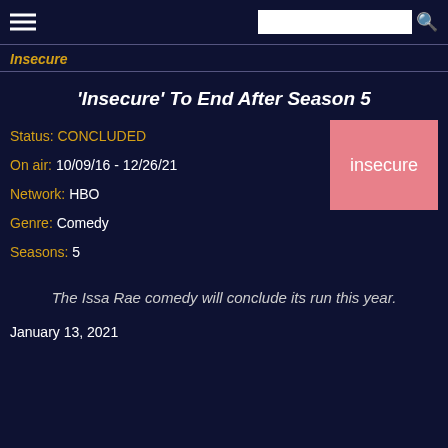Insecure [search bar and hamburger menu]
Insecure
'Insecure' To End After Season 5
Status: CONCLUDED
On air: 10/09/16 - 12/26/21
Network: HBO
Genre: Comedy
Seasons: 5
[Figure (logo): Pink/salmon colored rectangular logo with the word 'insecure' in white text]
The Issa Rae comedy will conclude its run this year.
January 13, 2021